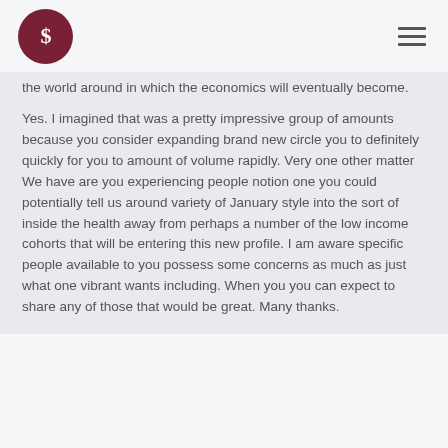Logo and navigation header
the world around in which the economics will eventually become.
Yes. I imagined that was a pretty impressive group of amounts because you consider expanding brand new circle you to definitely quickly for you to amount of volume rapidly. Very one other matter We have are you experiencing people notion one you could potentially tell us around variety of January style into the sort of inside the health away from perhaps a number of the low income cohorts that will be entering this new profile. I am aware specific people available to you possess some concerns as much as just what one vibrant wants including. When you you can expect to share any of those that would be great. Many thanks.